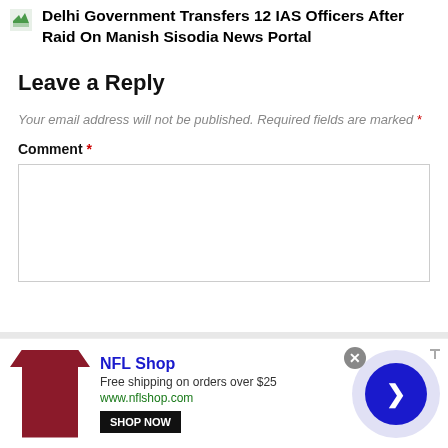Delhi Government Transfers 12 IAS Officers After Raid On Manish Sisodia News Portal
Leave a Reply
Your email address will not be published. Required fields are marked *
Comment *
[Figure (screenshot): Comment text area input box, empty, with border]
[Figure (infographic): NFL Shop advertisement banner with red jersey image, shop now button, NFL Shop title, free shipping text, www.nflshop.com URL, close button, and arrow navigation circle]